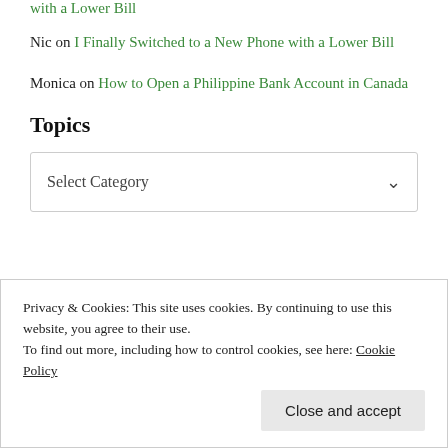with a Lower Bill
Nic on I Finally Switched to a New Phone with a Lower Bill
Monica on How to Open a Philippine Bank Account in Canada
Topics
Select Category
Privacy & Cookies: This site uses cookies. By continuing to use this website, you agree to their use. To find out more, including how to control cookies, see here: Cookie Policy
Close and accept